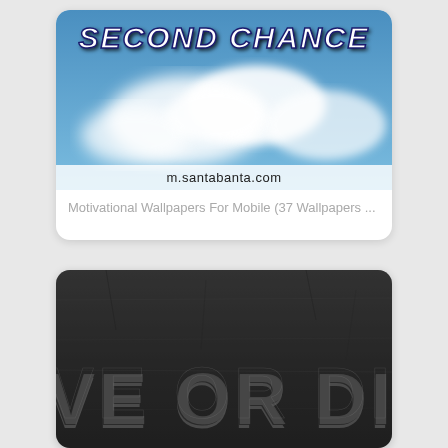[Figure (screenshot): Card showing motivational wallpaper with sky and clouds background, text 'SECOND CHANCE' in white stylized font, watermark 'm.santabanta.com' at bottom]
Motivational Wallpapers For Mobile (37 Wallpapers ...
[Figure (photo): Dark grunge textured image with text 'VE OR DIE' (partially cropped, likely 'LIVE OR DIE') in bold metallic/chrome embossed letters]